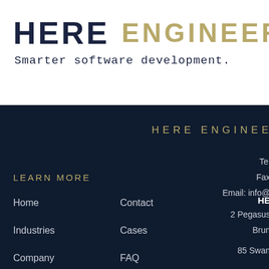[Figure (logo): HERE Engineering logo with dark navy HERE text and gold ENGINEERING text separated by a gold vertical bar, with TM superscript]
Smarter software development.
HERE ENGINEE...
Tel
Fax
Email: info@...
HE...
2 Pegasus
Brun...
LEARN MORE
Home
Contact
Industries
Cases
Company
FAQ
85 Swan...